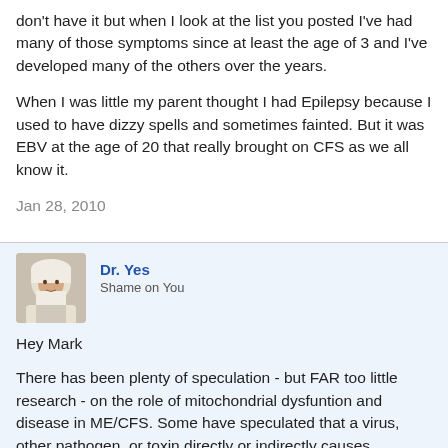don't have it but when I look at the list you posted I've had many of those symptoms since at least the age of 3 and I've developed many of the others over the years.
When I was little my parent thought I had Epilepsy because I used to have dizzy spells and sometimes fainted. But it was EBV at the age of 20 that really brought on CFS as we all know it.
Jan 28, 2010
Dr. Yes
Shame on You
Hey Mark
There has been plenty of speculation - but FAR too little research - on the role of mitochondrial dysfuntion and disease in ME/CFS. Some have speculated that a virus, other pathogen, or toxin directly or indirectly causes mitochondrial dysfunction in ME/CFS and other diseases.